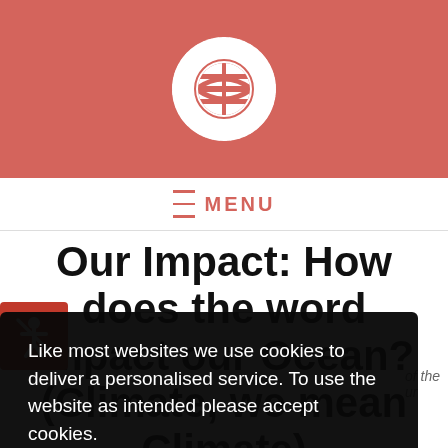[Figure (logo): Circular logo with wave/globe motif in white on salmon/coral red background header bar]
≡ MENU
Our Impact: How does the word impact our Ocean? (Climate, we mean Climate)
Like most websites we use cookies to deliver a personalised service. To use the website as intended please accept cookies.
Accept Cookies